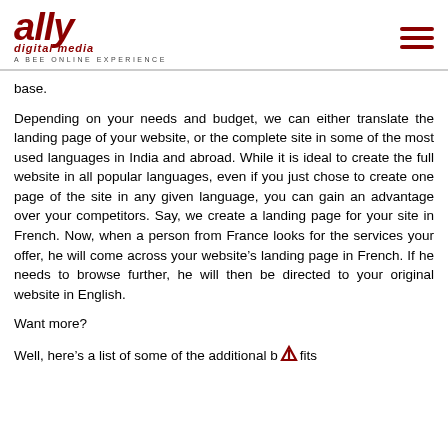[Figure (logo): Ally Digital Media logo with tagline 'A BEE ONLINE EXPERIENCE' and hamburger menu icon]
base.
Depending on your needs and budget, we can either translate the landing page of your website, or the complete site in some of the most used languages in India and abroad. While it is ideal to create the full website in all popular languages, even if you just chose to create one page of the site in any given language, you can gain an advantage over your competitors. Say, we create a landing page for your site in French. Now, when a person from France looks for the services your offer, he will come across your website’s landing page in French. If he needs to browse further, he will then be directed to your original website in English.
Want more?
Well, here’s a list of some of the additional benefits